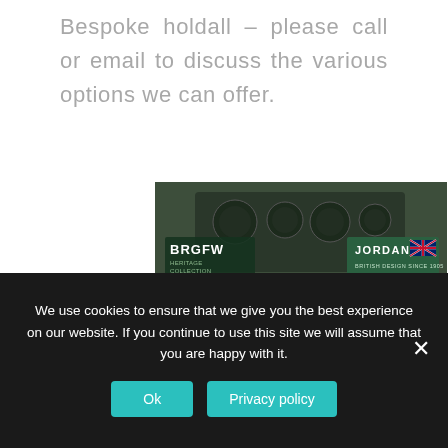Bespoke holdall – please call or email to discuss the various options we can offer.
[Figure (photo): Photo of a green checkered leather holdall bag (BRGFW Heritage Collection Stradale Holdall) placed in the boot/trunk of a classic car with cockpit and dashboard visible in the background. The bag features a dark strap and gold hardware. A Jordan brand label is visible in the upper right of the image, noting 'British Design Since 1905, Hand Made in Italy'.]
We use cookies to ensure that we give you the best experience on our website. If you continue to use this site we will assume that you are happy with it.